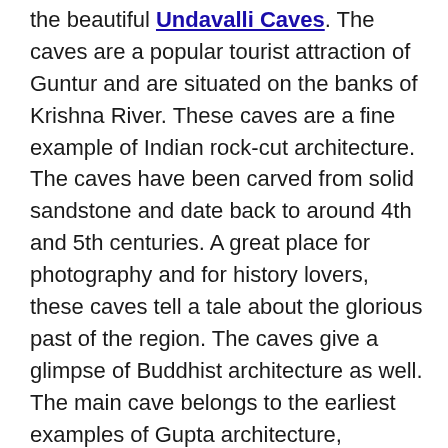the beautiful Undavalli Caves. The caves are a popular tourist attraction of Guntur and are situated on the banks of Krishna River. These caves are a fine example of Indian rock-cut architecture. The caves have been carved from solid sandstone and date back to around 4th and 5th centuries. A great place for photography and for history lovers, these caves tell a tale about the glorious past of the region. The caves give a glimpse of Buddhist architecture as well. The main cave belongs to the earliest examples of Gupta architecture, primarily primitive rock-cut monastery cells carved into the sandstone hills. The lush green forest cover and the pristine background around the caves is certainly a treat for the eyes.
There are several caves, but the largest and the best